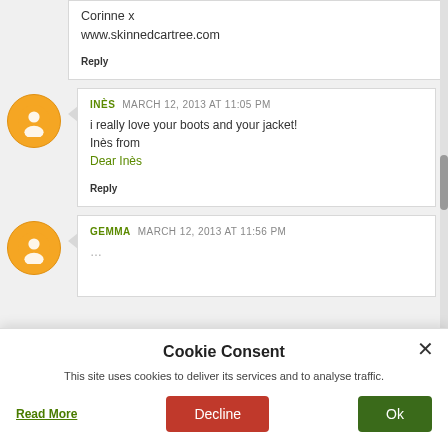Corinne x
www.skinnedcartree.com
Reply
INÈS  MARCH 12, 2013 AT 11:05 PM
i really love your boots and your jacket!
Inès from
Dear Inès
Reply
GEMMA  MARCH 12, 2013 AT 11:56 PM
Cookie Consent
This site uses cookies to deliver its services and to analyse traffic.
Read More  Decline  Ok